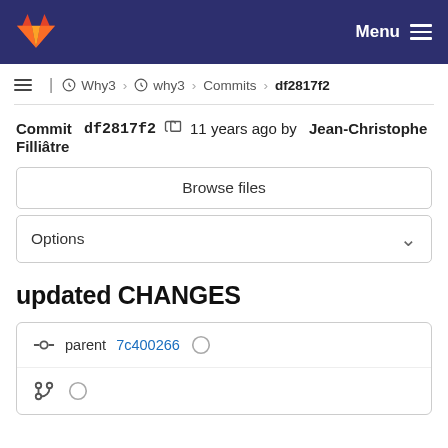GitLab navigation bar with Menu
≡ | Why3 > why3 > Commits > df2817f2
Commit df2817f2  11 years ago by Jean-Christophe Filliâtre
Browse files
Options
updated CHANGES
parent 7c400266